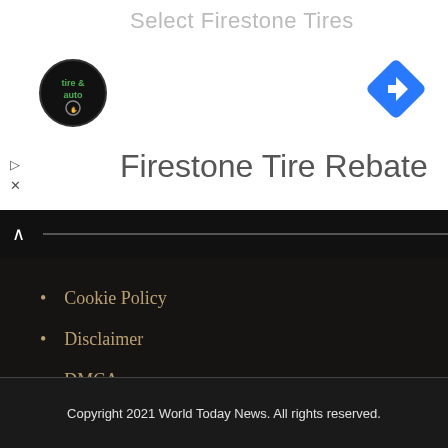[Figure (infographic): Ad banner with 'Select Firestone Tires' text, tire & auto logo circle, navigation arrow diamond icon, play/close icons, and 'Firestone Tire Rebate' heading]
Cookie Policy
Disclaimer
DMCA
GDPR Cookie Policy
Privacy Notice For California Residents
Privacy Policy
Terms and Conditions
Copyright 2021 World Today News. All rights reserved.